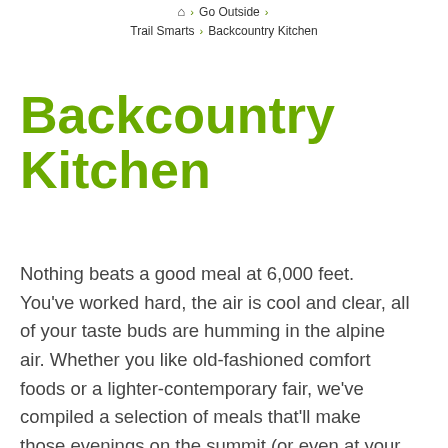Go Outside > Trail Smarts > Backcountry Kitchen
Backcountry Kitchen
Nothing beats a good meal at 6,000 feet. You've worked hard, the air is cool and clear, all of your taste buds are humming in the alpine air. Whether you like old-fashioned comfort foods or a lighter-contemporary fair, we've compiled a selection of meals that'll make those evenings on the summit (or even at your favorite campground) even more magical.